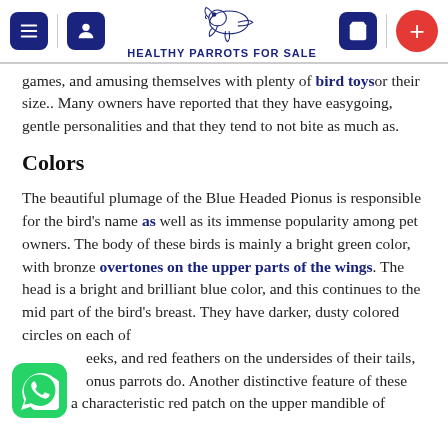HEALTHY PARROTS FOR SALE
games, and amusing themselves with plenty of bird toys or their size.. Many owners have reported that they have easygoing, gentle personalities and that they tend to not bite as much as.
Colors
The beautiful plumage of the Blue Headed Pionus is responsible for the bird's name as well as its immense popularity among pet owners. The body of these birds is mainly a bright green color, with bronze overtones on the upper parts of the wings. The head is a bright and brilliant blue color, and this continues to the mid part of the bird's breast. They have darker, dusty colored circles on each of their cheeks, and red feathers on the undersides of their tails, as most Pionus parrots do. Another distinctive feature of these birds is a characteristic red patch on the upper mandible of
[Figure (logo): WhatsApp floating button icon]